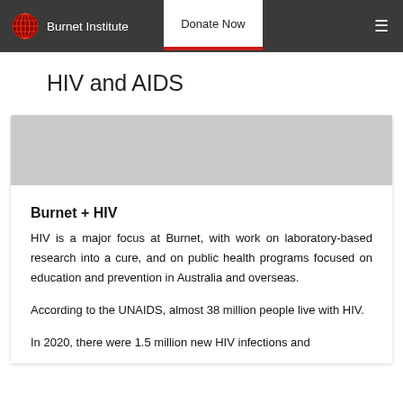Burnet Institute | Donate Now
HIV and AIDS
Burnet + HIV
HIV is a major focus at Burnet, with work on laboratory-based research into a cure, and on public health programs focused on education and prevention in Australia and overseas.
According to the UNAIDS, almost 38 million people live with HIV.
In 2020, there were 1.5 million new HIV infections and